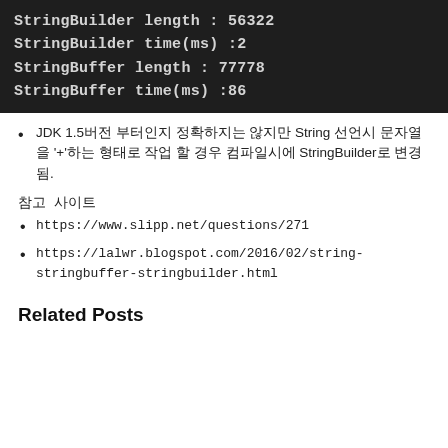[Figure (screenshot): Terminal/console output showing StringBuilder and StringBuffer length and time results: StringBuilder length : 56322, StringBuilder time(ms) :2, StringBuffer length : 77778, StringBuffer time(ms) :86]
JDK 1.5버전 부터인지 정확하지는 않지만 String 선언시 문자열을 '+'하는 형태로 작업 할 경우 컴파일시에 StringBuilder로 변경됨.
참고 사이트
https://www.slipp.net/questions/271
https://lalwr.blogspot.com/2016/02/string-stringbuffer-stringbuilder.html
Related Posts